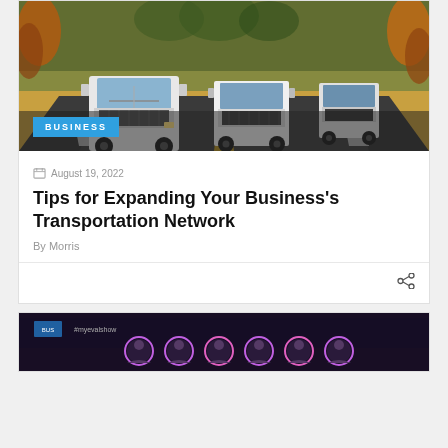[Figure (photo): Hero image of white semi-trucks on a highway road, with trees in autumn colors in the background. A blue 'BUSINESS' badge is overlaid at the bottom left of the image.]
August 19, 2022
Tips for Expanding Your Business's Transportation Network
By Morris
[Figure (photo): Partial view of a second article card showing a dark stage/event scene with circular avatar frames of people, dark purple and blue tones.]